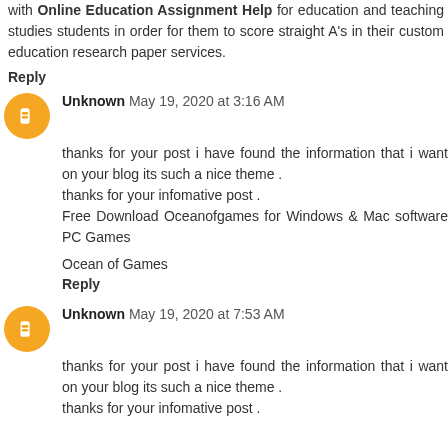with Online Education Assignment Help for education and teaching studies students in order for them to score straight A's in their custom education research paper services.
Reply
Unknown May 19, 2020 at 3:16 AM
thanks for your post i have found the information that i want on your blog its such a nice theme . thanks for your infomative post . Free Download Oceanofgames for Windows & Mac software PC Games
Ocean of Games
Reply
Unknown May 19, 2020 at 7:53 AM
thanks for your post i have found the information that i want on your blog its such a nice theme . thanks for your infomative post .